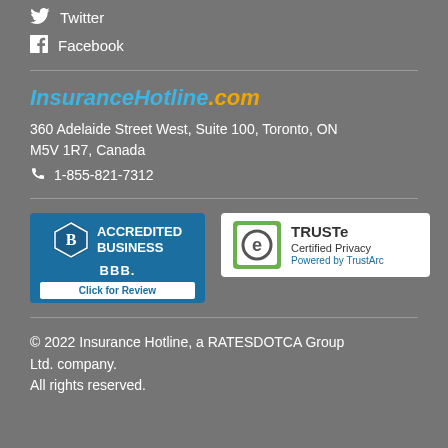Twitter
Facebook
InsuranceHotline.com
360 Adelaide Street West, Suite 100, Toronto, ON M5V 1R7, Canada
1-855-821-7312
[Figure (logo): BBB Accredited Business badge with 'Click for Review' text]
[Figure (logo): TRUSTe Certified Privacy Powered by TrustArc badge]
© 2022 Insurance Hotline, a RATESDOTCA Group Ltd. company. All rights reserved.